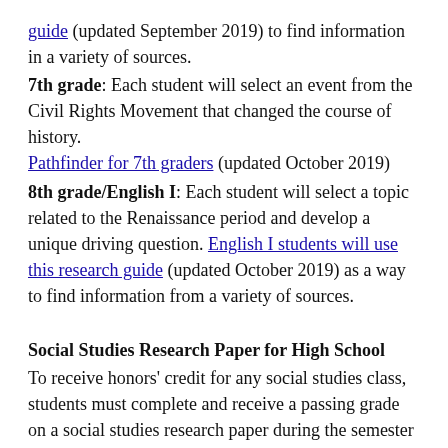guide (updated September 2019) to find information in a variety of sources.
7th grade: Each student will select an event from the Civil Rights Movement that changed the course of history. Pathfinder for 7th graders (updated October 2019)
8th grade/English I: Each student will select a topic related to the Renaissance period and develop a unique driving question. English I students will use this research guide (updated October 2019) as a way to find information from a variety of sources.
Social Studies Research Paper for High School
To receive honors' credit for any social studies class, students must complete and receive a passing grade on a social studies research paper during the semester in